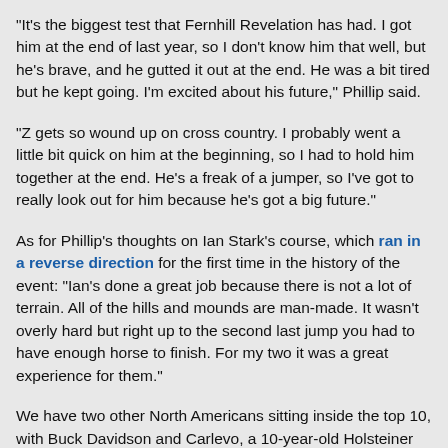"It's the biggest test that Fernhill Revelation has had. I got him at the end of last year, so I don't know him that well, but he's brave, and he gutted it out at the end. He was a bit tired but he kept going. I'm excited about his future," Phillip said.
"Z gets so wound up on cross country. I probably went a little bit quick on him at the beginning, so I had to hold him together at the end. He's a freak of a jumper, so I've got to really look out for him because he's got a big future."
As for Phillip's thoughts on Ian Stark's course, which ran in a reverse direction for the first time in the history of the event: "Ian's done a great job because there is not a lot of terrain. All of the hills and mounds are man-made. It wasn't overly hard but right up to the second last jump you had to have enough horse to finish. For my two it was a great experience for them."
We have two other North Americans sitting inside the top 10, with Buck Davidson and Carlevo, a 10-year-old Holsteiner gelding (Caresino X Ramatuelle, by Levernois) owned by Carlevo LLC, adding 9.2 time penalties to slip from third to eighth on 48.2.